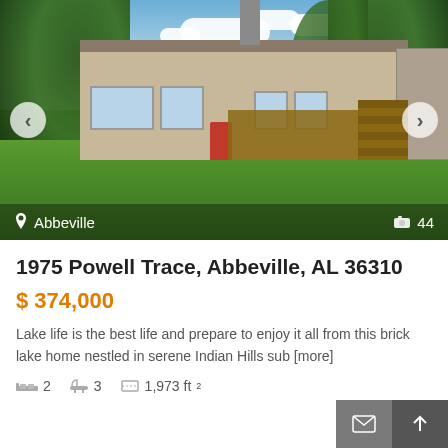[Figure (photo): Exterior photo of a brick ranch-style lake home with large lawn, deck, chimney, and mature trees surrounding it. Location tag 'Abbeville' and photo count '44' overlaid at bottom.]
1975 Powell Trace, Abbeville, AL 36310
$ 374,000
Lake life is the best life and prepare to enjoy it all from this brick lake home nestled in serene Indian Hills sub [more]
2 bedrooms  3 bathrooms  1,973 ft²